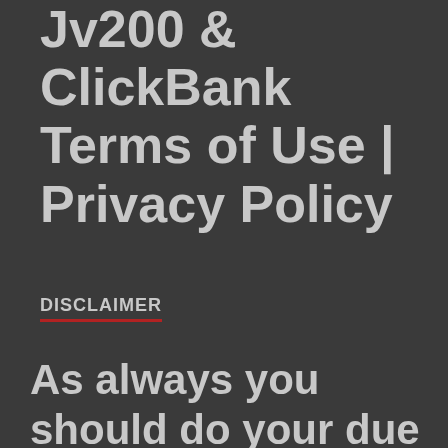Jv200 & ClickBank Terms of Use | Privacy Policy
DISCLAIMER
As always you should do your due diligence